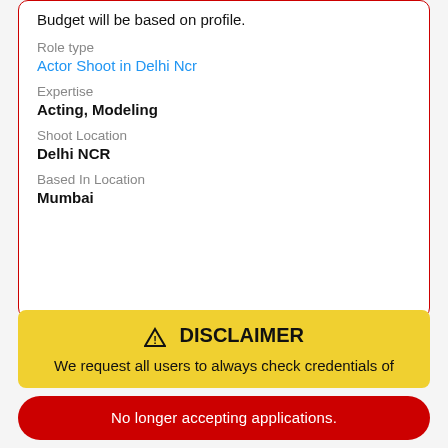Budget will be based on profile.
Role type
Actor Shoot in Delhi Ncr
Expertise
Acting, Modeling
Shoot Location
Delhi NCR
Based In Location
Mumbai
⚠ DISCLAIMER
We request all users to always check credentials of
No longer accepting applications.